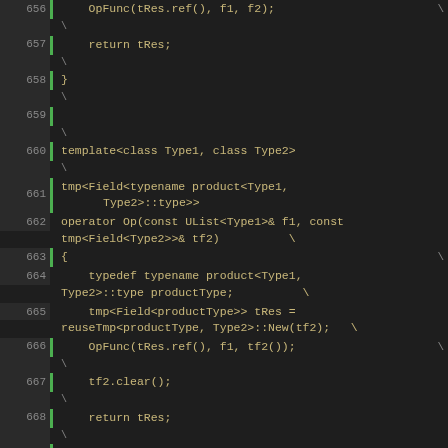Source code listing lines 656-672 showing C++ template operator functions with line numbers and green change indicators
[Figure (screenshot): C++ source code editor view showing lines 656-672 with syntax highlighting on dark background, green diff bars on left side, line numbers in grey, code in golden/tan color. Code shows template operator functions for Field types.]